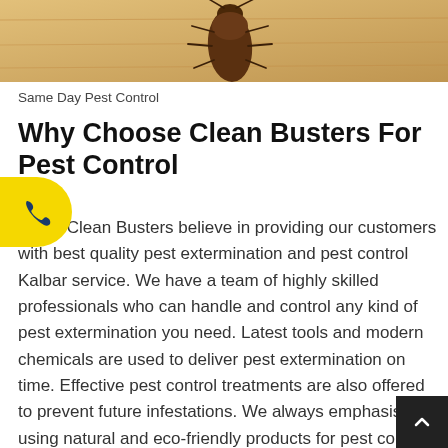[Figure (photo): Close-up photo of a cockroach on a wooden surface, cropped at the top of the page]
Same Day Pest Control
Why Choose Clean Busters For Pest Control r?
We at Clean Busters believe in providing our customers with best quality pest extermination and pest control Kalbar service. We have a team of highly skilled professionals who can handle and control any kind of pest extermination you need. Latest tools and modern chemicals are used to deliver pest extermination on time. Effective pest control treatments are also offered to prevent future infestations. We always emphasis using natural and eco-friendly products for pest cont